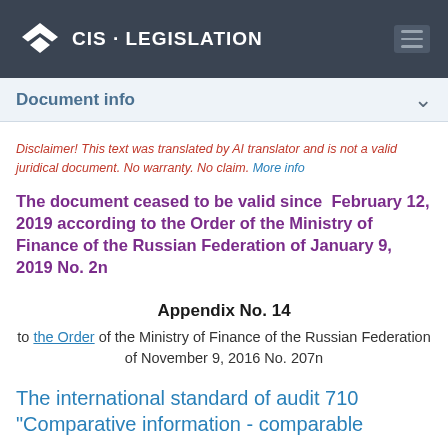CIS · LEGISLATION
Document info
Disclaimer! This text was translated by AI translator and is not a valid juridical document. No warranty. No claim. More info
The document ceased to be valid since February 12, 2019 according to the Order of the Ministry of Finance of the Russian Federation of January 9, 2019 No. 2n
Appendix No. 14
to the Order of the Ministry of Finance of the Russian Federation of November 9, 2016 No. 207n
The international standard of audit 710 "Comparative information - comparable